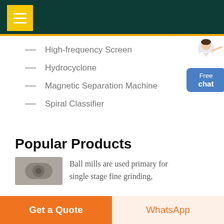Navigation header with menu button
High-frequency Screen
Hydrocyclone
Magnetic Separation Machine
Spiral Classifier
[Figure (illustration): Free chat widget with person figure and blue button labeled 'Free chat']
Popular Products
[Figure (photo): Thumbnail photo of a ball mill machine]
Ball mills are used primary for single stage fine grinding,
Get a Quote | WhatsApp